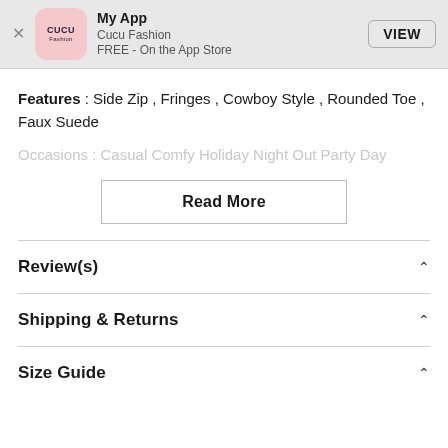[Figure (screenshot): App Store banner with CUCU Fashion app icon (pink rounded square), app name 'My App', developer 'Cucu Fashion', price 'FREE - On the App Store', and a VIEW button. An X close button is on the left.]
Features: Side Zip, Fringes, Cowboy Style, Rounded Toe, Faux Suede
Occasions: Casual Comfy Holiday Night Out Party Day
Read More
Review(s)
Shipping & Returns
Size Guide